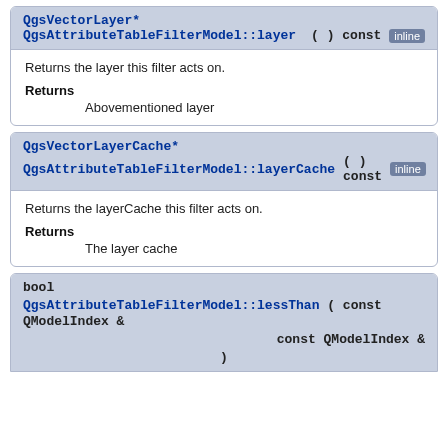QgsVectorLayer* QgsAttributeTableFilterModel::layer ( ) const inline
Returns the layer this filter acts on.
Returns
    Abovementioned layer
QgsVectorLayerCache* QgsAttributeTableFilterModel::layerCache ( ) const inline
Returns the layerCache this filter acts on.
Returns
    The layer cache
bool QgsAttributeTableFilterModel::lessThan ( const QModelIndex & const QModelIndex &